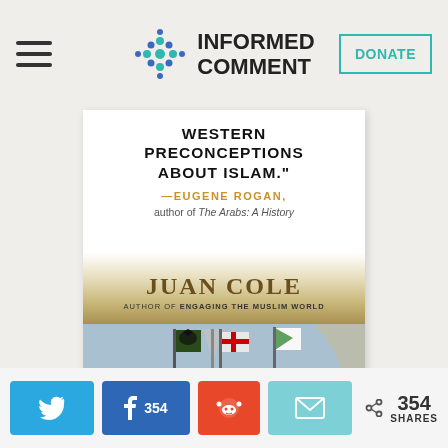Informed Comment — DONATE
[Figure (illustration): Book cover showing 'WESTERN PRECONCEPTIONS ABOUT ISLAM.' quote attributed to Eugene Rogan, author of The Arabs: A History; author name JUAN COLE, Author of ENGAGING THE MUSLIM WORLD; lower portion shows a historical battle painting with flags and horsemen.]
Twitter share | Facebook 354 | Reddit | Email | 354 SHARES